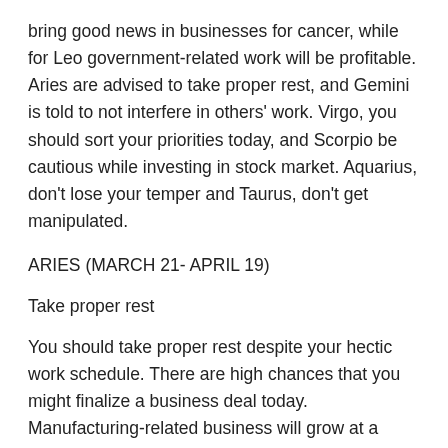bring good news in businesses for cancer, while for Leo government-related work will be profitable. Aries are advised to take proper rest, and Gemini is told to not interfere in others' work. Virgo, you should sort your priorities today, and Scorpio be cautious while investing in stock market. Aquarius, don't lose your temper and Taurus, don't get manipulated.
ARIES (MARCH 21- APRIL 19)
Take proper rest
You should take proper rest despite your hectic work schedule. There are high chances that you might finalize a business deal today. Manufacturing-related business will grow at a good rate. Artists might earn special recognition.